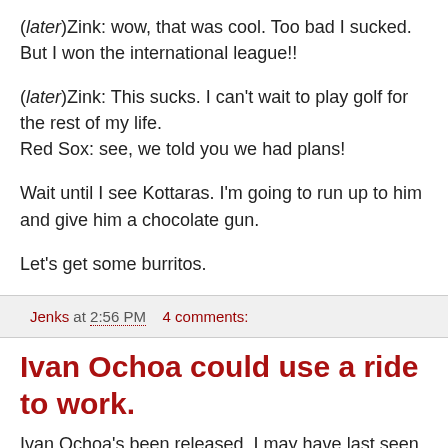(/later)Zink: wow, that was cool. Too bad I sucked. But I won the international league!!
(/later)Zink: This sucks. I can't wait to play golf for the rest of my life.
Red Sox: see, we told you we had plans!
Wait until I see Kottaras. I'm going to run up to him and give him a chocolate gun.
Let's get some burritos.
Jenks at 2:56 PM    4 comments:
Ivan Ochoa could use a ride to work.
Ivan Ochoa's been released. I may have last seen him at poster night. And so now we have Chris Woodward, who's probably second only to Jay Gibbons in the secret